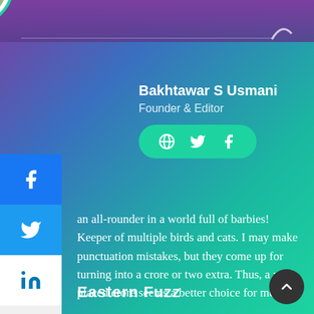Bakhtawar S Usmani
Founder & Editor
an all-rounder in a world full of barbies! Keeper of multiple birds and cats. I may make punctuation mistakes, but they come up for turning into a crore or two extra. Thus, a well-placed crore seems a better choice for me.
Eastern Fuzz